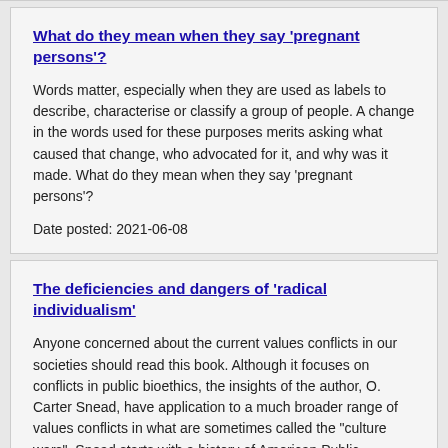What do they mean when they say 'pregnant persons'?
Words matter, especially when they are used as labels to describe, characterise or classify a group of people. A change in the words used for these purposes merits asking what caused that change, who advocated for it, and why was it made. What do they mean when they say 'pregnant persons'?
Date posted: 2021-06-08
The deficiencies and dangers of 'radical individualism'
Anyone concerned about the current values conflicts in our societies should read this book. Although it focuses on conflicts in public bioethics, the insights of the author, O. Carter Snead, have application to a much broader range of values conflicts in what are sometimes called the "culture wars". Snead starts with a history of American Public Bioethics. He then asks, "What does it means to be human"?
Date posted: 2021-03-27